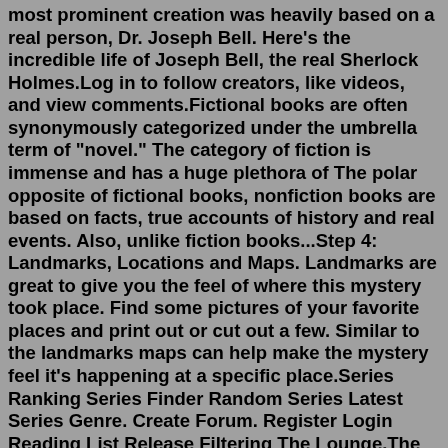most prominent creation was heavily based on a real person, Dr. Joseph Bell. Here's the incredible life of Joseph Bell, the real Sherlock Holmes.Log in to follow creators, like videos, and view comments.Fictional books are often synonymously categorized under the umbrella term of "novel." The category of fiction is immense and has a huge plethora of The polar opposite of fictional books, nonfiction books are based on facts, true accounts of history and real events. Also, unlike fiction books...Step 4: Landmarks, Locations and Maps. Landmarks are great to give you the feel of where this mystery took place. Find some pictures of your favorite places and print out or cut out a few. Similar to the landmarks maps can help make the mystery feel it's happening at a specific place.Series Ranking Series Finder Random Series Latest Series Genre. Create Forum. Register Login Reading List Release Filtering The Lounge.The archetypes listed here in boldface type are just a few of the many ancient patterns that exist in human consciousness. Many additional archetypes that are